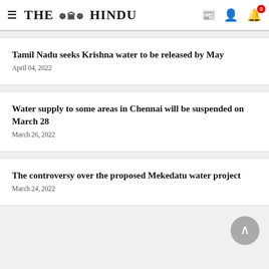THE HINDU
Tamil Nadu seeks Krishna water to be released by May
April 04, 2022
Water supply to some areas in Chennai will be suspended on March 28
March 26, 2022
The controversy over the proposed Mekedatu water project
March 24, 2022